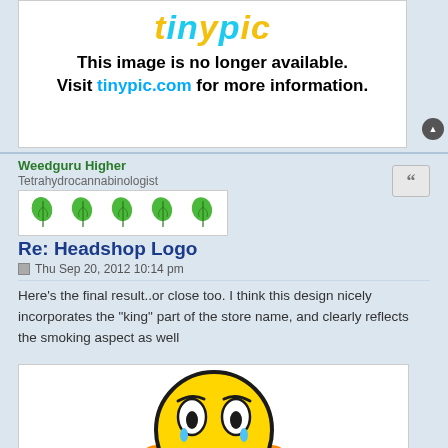[Figure (screenshot): Tinypic image unavailable placeholder showing logo and message 'This image is no longer available. Visit tinypic.com for more information.']
[Figure (infographic): Quote button icon (double quotation marks) in gray box]
Weedguru Higher
Tetrahydrocannabinologist
[Figure (illustration): Five green cannabis leaf icons in a row representing user rank/level]
Re: Headshop Logo
Thu Sep 20, 2012 10:14 pm
Here's the final result..or close too. I think this design nicely incorporates the "king" part of the store name, and clearly reflects the smoking aspect as well
[Figure (illustration): Sad/worried yellow smiley face emoji with hands on cheeks and frowning expression, blue teardrops, orange ears]